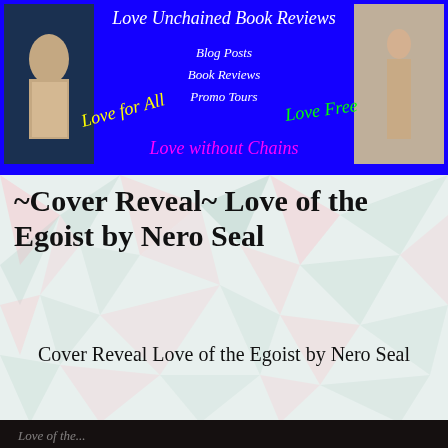[Figure (illustration): Love Unchained Book Reviews banner with blue background, two photos on sides, and text including Blog Posts, Book Reviews, Promo Tours, Love for All, Love Free, Love without Chains]
~Cover Reveal~ Love of the Egoist by Nero Seal
Cover Reveal Love of the Egoist by Nero Seal
[Figure (photo): Dark book cover photo for Love of the Egoist by Nero Seal]